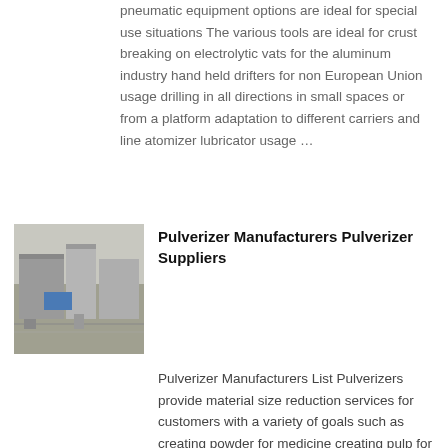pneumatic equipment options are ideal for special use situations The various tools are ideal for crust breaking on electrolytic vats for the aluminum industry hand held drifters for non European Union usage drilling in all directions in small spaces or from a platform adaptation to different carriers and line atomizer lubricator usage …
[Figure (photo): Aerial or elevated view of an industrial facility with large grey structures and a blue roof element, photographed from above.]
Pulverizer Manufacturers Pulverizer Suppliers
Pulverizer Manufacturers List Pulverizers provide material size reduction services for customers with a variety of goals such as creating powder for medicine creating pulp for paper production grinding grain for food production tire shredding and recycling breaking down building materials turning soil crushing vehicles for scrap grinding rock samples and more …